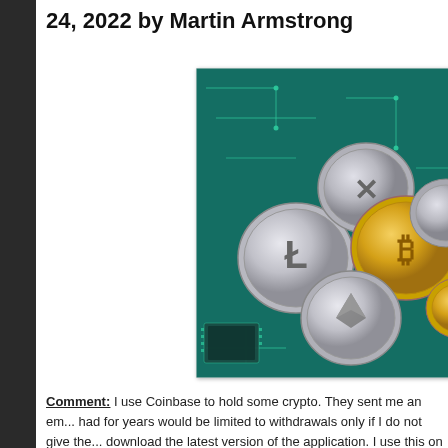24, 2022 by Martin Armstrong
[Figure (photo): A collection of cryptocurrency coins (Bitcoin, Litecoin, Ripple, Ethereum, and others) scattered on a green circuit board background.]
Comment: I use Coinbase to hold some crypto. They sent me an em... had for years would be limited to withdrawals only if I do not give the... download the latest version of the application. I use this on my PC a... worry they'll take what is left of my failing cryptos. Luckily I only put "... I imagine others will experience losses and frozen accounts in the ne... me was October – not sure if that is for all. I messaged out to Coinba... but cannot fully verify it after many tries.
Reply: Government hates cryptocurrency. They have always been...